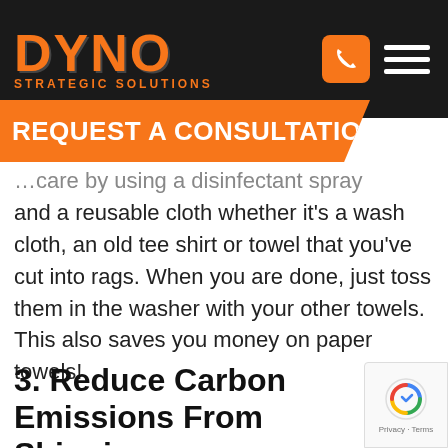[Figure (logo): DYNO Strategic Solutions logo in orange on dark background with phone and menu icons]
REQUEST A CONSULTATION
…care by using a disinfectant spray and a reusable cloth whether it's a wash cloth, an old tee shirt or towel that you've cut into rags. When you are done, just toss them in the washer with your other towels. This also saves you money on paper towels!
3. Reduce Carbon Emissions From Shipping